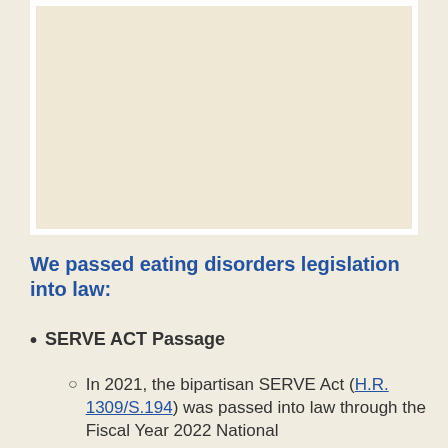[Figure (other): Large blank/empty image placeholder box with white border on tan background]
We passed eating disorders legislation into law:
SERVE ACT Passage
In 2021, the bipartisan SERVE Act (H.R. 1309/S.194) was passed into law through the Fiscal Year 2022 National